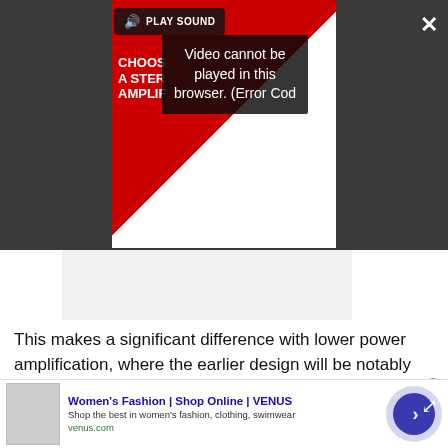[Figure (screenshot): Video player overlay showing a stereo amplifier advertisement video with a 'PLAY SOUND' tooltip, error message reading 'Video cannot be played in this browser. (Error Cod', a close X button, and expand arrows button.]
[Figure (other): Gray placeholder box below the video player]
This makes a significant difference with lower power amplification, where the earlier design will be notably louder for any given signal.
[Figure (other): Advertisement placeholder box with label 'Advertisement']
[Figure (other): Ad banner at bottom: Women's Fashion | Shop Online | VENUS. Shop the best in women's fashion, clothing, swimwear. venus.com]